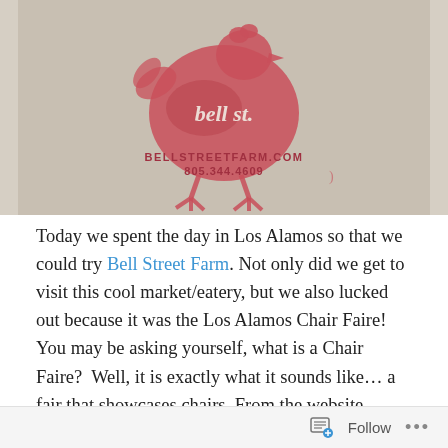[Figure (photo): Photo of a rubber stamp impression on cardboard/paper showing a chicken silhouette with 'bell st.' text on it, and below: 'BELLSTREETFARM.COM' and '805.344.4609']
Today we spent the day in Los Alamos so that we could try Bell Street Farm. Not only did we get to visit this cool market/eatery, but we also lucked out because it was the Los Alamos Chair Faire! You may be asking yourself, what is a Chair Faire?  Well, it is exactly what it sounds like… a fair that showcases chairs. From the website,